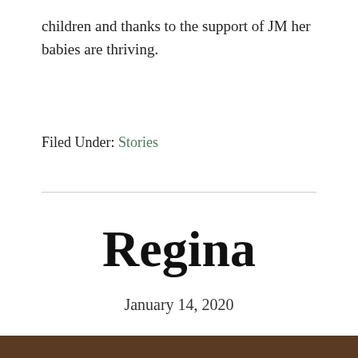children and thanks to the support of JM her babies are thriving.
Filed Under: Stories
Regina
January 14, 2020
–
[Figure (photo): Bottom strip showing a photo partially visible at the bottom of the page]